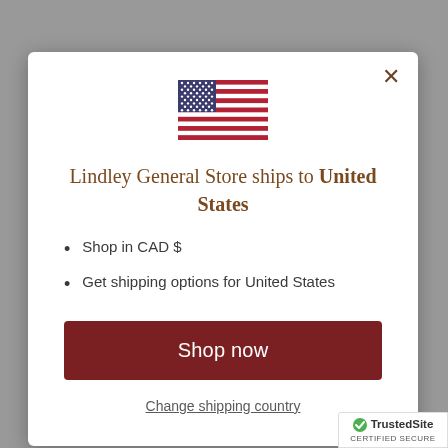[Figure (illustration): US flag emoji/icon centered above the modal title]
Lindley General Store ships to United States
Shop in CAD $
Get shipping options for United States
Shop now
Change shipping country
[Figure (logo): TrustedSite Certified Secure badge in bottom right corner]